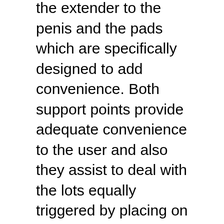the extender to the penis and the pads which are specifically designed to add convenience. Both support points provide adequate convenience to the user and also they assist to deal with the lots equally triggered by placing on the device.
Primarily penis extenders only have solitary loop or strap, which makes it hassle-free for the penis to escape during wearing.
Devices with single loop or strap can not deliver the expected results. With the silicone tubes, the penis continues to be in a better position as well as the stress is kept properly. These attributes make the Quick Extender Pro the best device to obtain optimal gains. The device holds 3 features